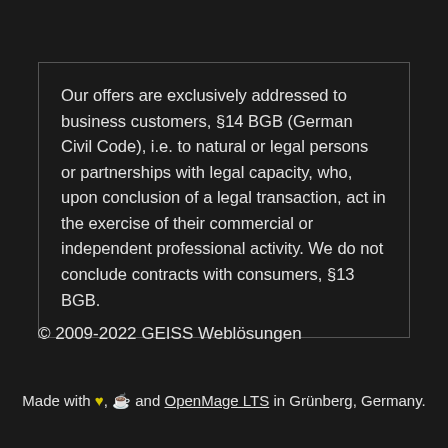Our offers are exclusively addressed to business customers, §14 BGB (German Civil Code), i.e. to natural or legal persons or partnerships with legal capacity, who, upon conclusion of a legal transaction, act in the exercise of their commercial or independent professional activity. We do not conclude contracts with consumers, §13 BGB.
© 2009-2022 GEISS Weblösungen
Made with ♥, ☕ and OpenMage LTS in Grünberg, Germany.